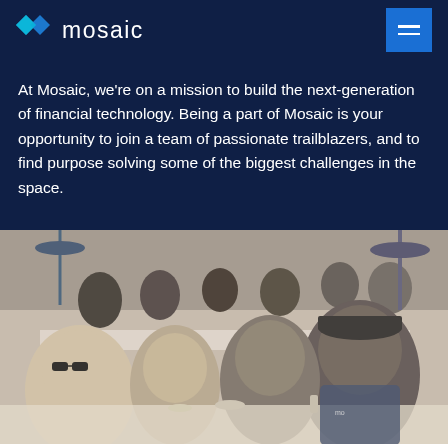mosaic
At Mosaic, we're on a mission to build the next-generation of financial technology. Being a part of Mosaic is your opportunity to join a team of passionate trailblazers, and to find purpose solving some of the biggest challenges in the space.
[Figure (photo): Group of people sitting at a long outdoor table sharing a meal, smiling and talking. Multiple people visible including a woman with sunglasses laughing in the foreground.]